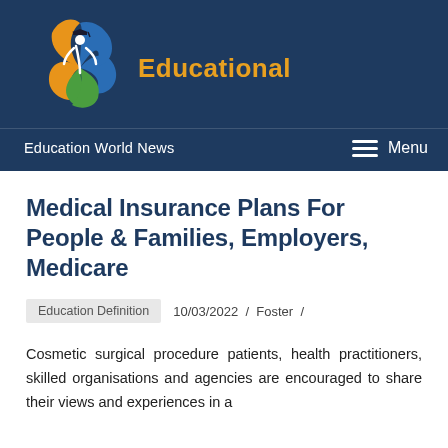[Figure (logo): Circular logo with orange, blue, and green segments forming a person with graduation cap, next to the word 'Educational' in dark blue]
Education World News   Menu
Medical Insurance Plans For People & Families, Employers, Medicare
Education Definition   10/03/2022 / Foster /
Cosmetic surgical procedure patients, health practitioners, skilled organisations and agencies are encouraged to share their views and experiences in a